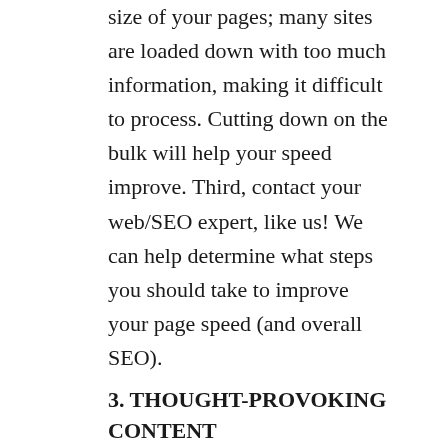size of your pages; many sites are loaded down with too much information, making it difficult to process. Cutting down on the bulk will help your speed improve. Third, contact your web/SEO expert, like us! We can help determine what steps you should take to improve your page speed (and overall SEO).
3. THOUGHT-PROVOKING CONTENT
It's time to stop creating content for the sake of creating content. Focus on creating content that solves a problem by offering advice, motivation, and engagement for your customer. Creating exceptional content